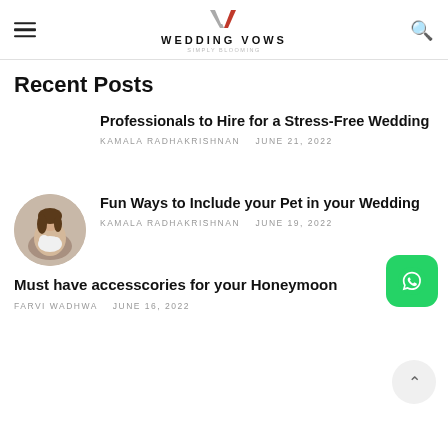WEDDING VOWS
Recent Posts
Professionals to Hire for a Stress-Free Wedding
KAMALA RADHAKRISHNAN   JUNE 21, 2022
[Figure (photo): Circular thumbnail photo of a woman holding a white pet cat]
Fun Ways to Include your Pet in your Wedding
KAMALA RADHAKRISHNAN   JUNE 19, 2022
Must have accesscories for your Honeymoon
FARVI WADHWA   JUNE 16, 2022